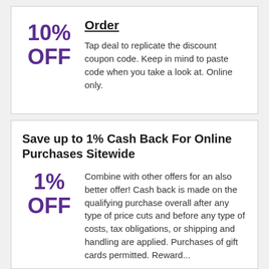Order
10% OFF
Tap deal to replicate the discount coupon code. Keep in mind to paste code when you take a look at. Online only.
Save up to 1% Cash Back For Online Purchases Sitewide
1% OFF
Combine with other offers for an also better offer! Cash back is made on the qualifying purchase overall after any type of price cuts and before any type of costs, tax obligations, or shipping and handling are applied. Purchases of gift cards permitted. Reward...